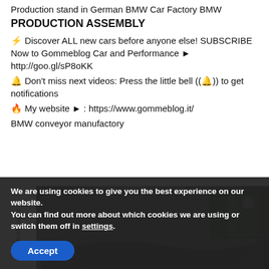Production stand in German BMW Car Factory BMW
PRODUCTION ASSEMBLY
⚡ Discover ALL new cars before anyone else! SUBSCRIBE Now to Gommeblog Car and Performance ► http://goo.gl/sP8oKK
🔔 Don't miss next videos: Press the little bell ((🔔)) to get notifications
🔥 My website ► : https://www.gommeblog.it/
BMW conveyor manufactory
[Figure (photo): Close-up photo of a BMW car hood/body panel showing textured metal surface on a factory conveyor line, with yellow factory equipment visible in the background. The gommeblog.it logo appears on the left side.]
We are using cookies to give you the best experience on our website.
You can find out more about which cookies we are using or switch them off in settings.
Accept